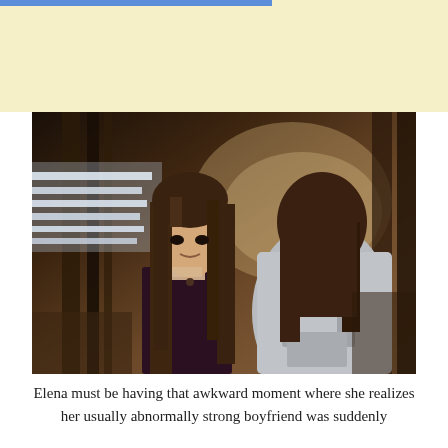[Figure (photo): Two young women facing each other in a dimly lit wooden barn or stable setting. One faces the camera with long straight brown hair and a dark top, looking serious or concerned. The other is seen from behind with long brown hair and a light gray jacket.]
Elena must be having that awkward moment where she realizes her usually abnormally strong boyfriend was suddenly